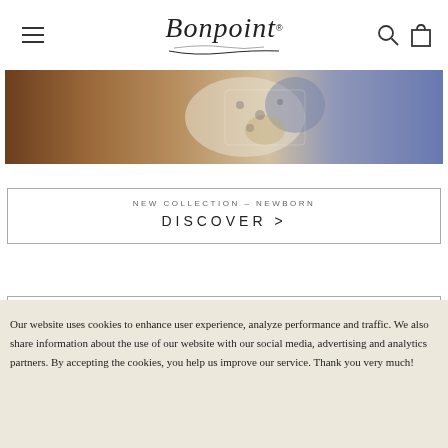Bonpoint (logo with hamburger menu, search, and bag icons)
[Figure (photo): Partial hero image showing blurred children in patterned clothing against warm earth tones]
NEW COLLECTION – NEWBORN
DISCOVER >
NEW COLLECTION – BABY
DISCOVER >
Our website uses cookies to enhance user experience, analyze performance and traffic. We also share information about the use of our website with our social media, advertising and analytics partners. By accepting the cookies, you help us improve our service. Thank you very much!